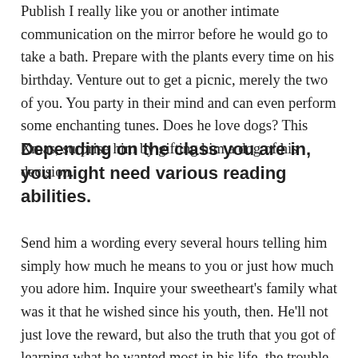Publish I really like you or another intimate communication on the mirror before he would go to take a bath. Prepare with the plants every time on his birthday. Venture out to get a picnic, merely the two of you. You party in their mind and can even perform some enchanting tunes. Does he love dogs? This Xmas, surprise him by gifting him a dog of his decision.
Depending on the class you are in, you might need various reading abilities.
Send him a wording every several hours telling him simply how much he means to you or just how much you adore him. Inquire your sweetheart’s family what was it that he wished since his youth, then. He’ll not just love the reward, but also the truth that you got of learning what he wanted most in his life, the trouble. Hug his hair as well as the nape of his neck. Guys love that, particularly when they’ve simply returned from a difficult trip to work. Learn a spanish and coo